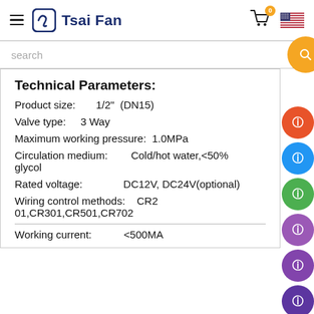Tsai Fan — website header with hamburger menu, logo, cart icon (badge: 0), US flag
search
Technical Parameters:
Product size:    1/2"  (DN15)
Valve type:    3 Way
Maximum working pressure:  1.0MPa
Circulation medium:        Cold/hot water,<50% glycol
Rated voltage:             DC12V, DC24V(optional)
Wiring control methods:    CR201,CR301,CR501,CR702
Working current:           <500MA